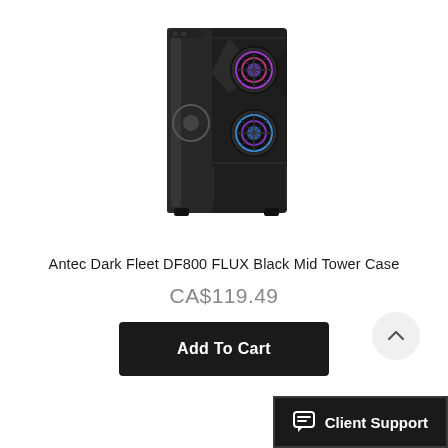[Figure (photo): Antec Dark Fleet DF800 FLUX Black Mid Tower PC case with RGB fans visible on the front panel and a tempered glass side panel.]
Antec Dark Fleet DF800 FLUX Black Mid Tower Case
CA$119.49
Add To Cart
[Figure (other): Scroll to top button — circular grey button with an upward chevron arrow.]
Client Support